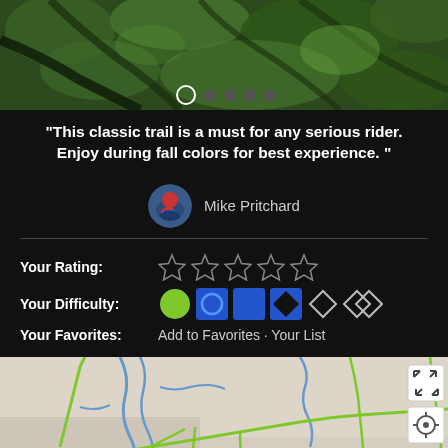[Figure (photo): Aerial/overhead photo of a mountain bike trail through green forest with foliage, with carousel dots overlay at bottom]
“This classic trail is a must for any serious rider. Enjoy during fall colors for best experience. ”
Mike Pritchard
Your Rating:
[Figure (infographic): Five empty star rating icons]
Your Difficulty:
[Figure (infographic): Difficulty level icons: green circle, blue circle in square, blue square, black diamond in square, white diamond outline, white double diamond outline]
Your Favorites:  Add to Favorites · Your List
[Figure (map): Map showing trail routes near Snowmass Village with green trail lines on grey map background, with expand and location buttons]